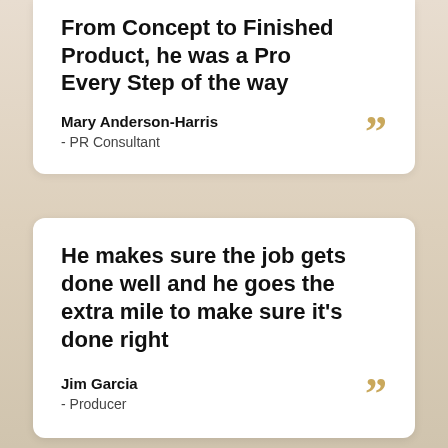From Concept to Finished Product, he was a Pro Every Step of the way
Mary Anderson-Harris
- PR Consultant
He makes sure the job gets done well and he goes the extra mile to make sure it's done right
Jim Garcia
- Producer